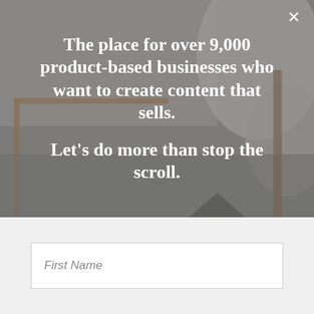[Figure (photo): A blurred/muted photograph of a minimalist home interior or craft setup with wooden shelving/furniture and round objects, used as a background image.]
The place for over 9,000 product-based businesses who want to create content that sells.

Let's do more than stop the scroll.
First Name